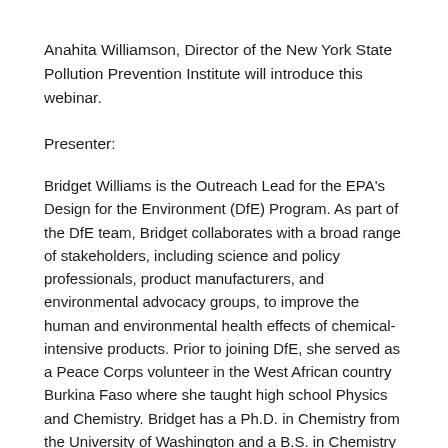Anahita Williamson, Director of the New York State Pollution Prevention Institute will introduce this webinar.
Presenter:
Bridget Williams is the Outreach Lead for the EPA's Design for the Environment (DfE) Program. As part of the DfE team, Bridget collaborates with a broad range of stakeholders, including science and policy professionals, product manufacturers, and environmental advocacy groups, to improve the human and environmental health effects of chemical-intensive products. Prior to joining DfE, she served as a Peace Corps volunteer in the West African country Burkina Faso where she taught high school Physics and Chemistry. Bridget has a Ph.D. in Chemistry from the University of Washington and a B.S. in Chemistry from Colorado State University.